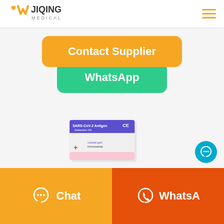JIQING MEDICAL
Contact Supplier
WhatsApp
[Figure (photo): SARS-CoV-2 Antigen Detection Kit product box with CE marking]
Chat
WhatsA